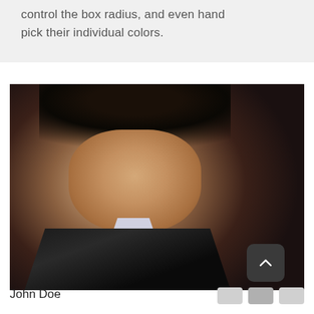control the box radius, and even hand pick their individual colors.
[Figure (photo): Portrait photo of a young Asian man with dark shaggy hair, wearing a dark suit with white collar shirt and tie, photographed against a dark gray background]
John Doe